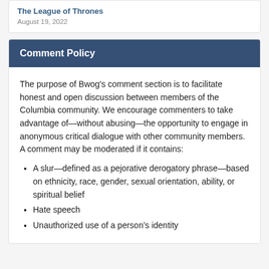The League of Thrones
August 19, 2022
Comment Policy
The purpose of Bwog’s comment section is to facilitate honest and open discussion between members of the Columbia community. We encourage commenters to take advantage of—without abusing—the opportunity to engage in anonymous critical dialogue with other community members. A comment may be moderated if it contains:
A slur—defined as a pejorative derogatory phrase—based on ethnicity, race, gender, sexual orientation, ability, or spiritual belief
Hate speech
Unauthorized use of a person’s identity